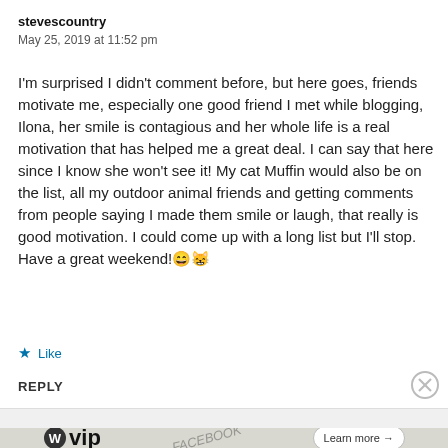stevescountry
May 25, 2019 at 11:52 pm
I'm surprised I didn't comment before, but here goes, friends motivate me, especially one good friend I met while blogging, Ilona, her smile is contagious and her whole life is a real motivation that has helped me a great deal. I can say that here since I know she won't see it! My cat Muffin would also be on the list, all my outdoor animal friends and getting comments from people saying I made them smile or laugh, that really is good motivation. I could come up with a long list but I'll stop. Have a great weekend!😄😸
★ Like
REPLY
Advertisements